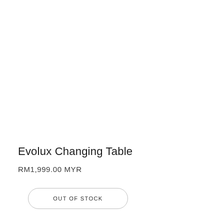Evolux Changing Table
RM1,999.00 MYR
OUT OF STOCK